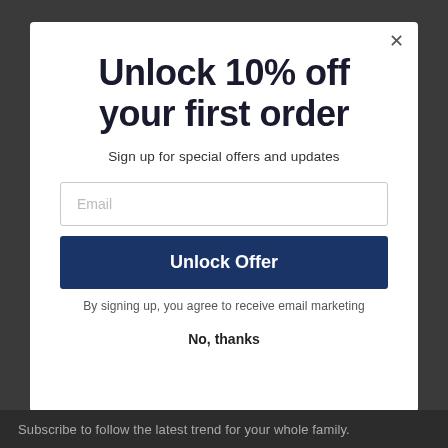Unlock 10% off your first order
Sign up for special offers and updates
Email
Unlock Offer
By signing up, you agree to receive email marketing
No, thanks
Subscribe to follow the latest trend for your whole family.